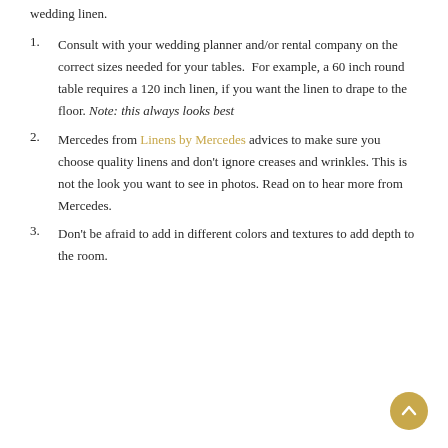wedding linen.
Consult with your wedding planner and/or rental company on the correct sizes needed for your tables. For example, a 60 inch round table requires a 120 inch linen, if you want the linen to drape to the floor. Note: this always looks best
Mercedes from Linens by Mercedes advices to make sure you choose quality linens and don't ignore creases and wrinkles. This is not the look you want to see in photos. Read on to hear more from Mercedes.
Don't be afraid to add in different colors and textures to add depth to the room.